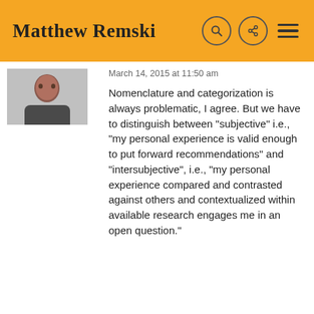Matthew Remski
March 14, 2015 at 11:50 am
Nomenclature and categorization is always problematic, I agree. But we have to distinguish between "subjective" i.e., "my personal experience is valid enough to put forward recommendations" and "intersubjective", i.e., "my personal experience compared and contrasted against others and contextualized within available research engages me in an open question."